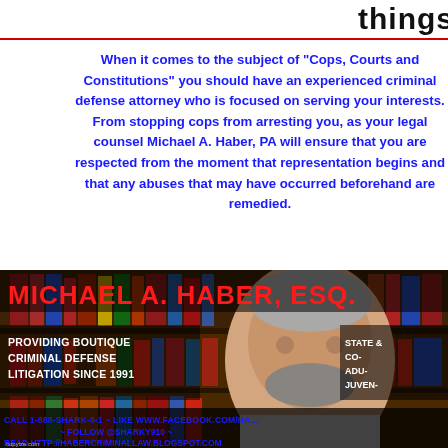…things is going to hap…
When it comes to the subject of "Cops, Courts and Constitutions" you should have an experienced criminal defense attorney who is focused on serving your interests. From stopping cops from arresting you, as your legal counsel Michael A. Haber, PA will ensure that you are respected from the moment that representation begins and that any abuses that may have occurred beforehand are remedied.
[Figure (photo): Advertisement photo of Michael A. Haber, Esq. standing in front of a bookshelf full of law books. Text overlay reads: MICHAEL A. HABER, ESQ. PROVIDING BOUTIQUE CRIMINAL DEFENSE LITIGATION SINCE 1991. STATE & CO- ADU- JUVEN-. CALL 1-888-SHARK-8-1 ~ LIKE WWW.FACEBOOK.COM/HA... ~ FOLLOW @SHARKY910 ~ READ HTTP://HABERCRIMINALLAW.BLOGSPOT.COM]